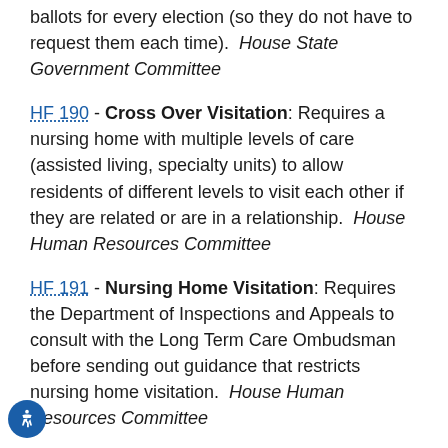ballots for every election (so they do not have to request them each time).  House State Government Committee
HF 190 - Cross Over Visitation: Requires a nursing home with multiple levels of care (assisted living, specialty units) to allow residents of different levels to visit each other if they are related or are in a relationship.  House Human Resources Committee
HF 191 - Nursing Home Visitation: Requires the Department of Inspections and Appeals to consult with the Long Term Care Ombudsman before sending out guidance that restricts nursing home visitation.  House Human Resources Committee
HF 244 - Deaf/Hard-of-Hearing Children: Requres the Department of Education to hire an early language development consultant to develop a